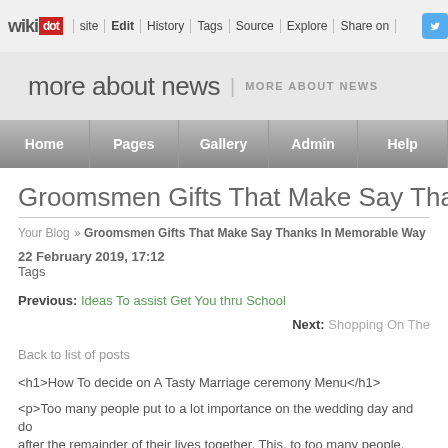wikidot | site | Edit | History | Tags | Source | Explore | Share on [Twitter]
more about news | MORE ABOUT NEWS
Home | Pages | Gallery | Admin | Help
Groomsmen Gifts That Make Say Thanks
Your Blog » Groomsmen Gifts That Make Say Thanks In Memorable Way
22 February 2019, 17:12
Tags
Previous: Ideas To assist Get You thru School
Next: Shopping On The
Back to list of posts
<h1>How To decide on A Tasty Marriage ceremony Menu</h1>
<p>Too many people put to a lot importance on the wedding day and do after the remainder of their lives together. This, to too many people,